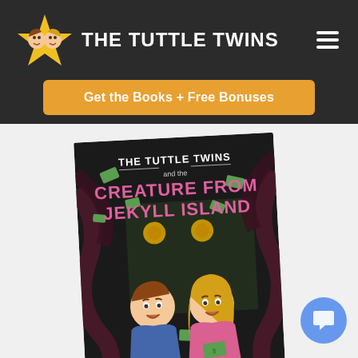THE TUTTLE TWINS
Get the Books + Free Bonuses
[Figure (illustration): Book cover: The Tuttle Twins and the Creature from Jekyll Island. Shows two cartoon children (boy and girl) looking scared, surrounded by tentacles and flying dollar bills, with a dark monster figure in the background.]